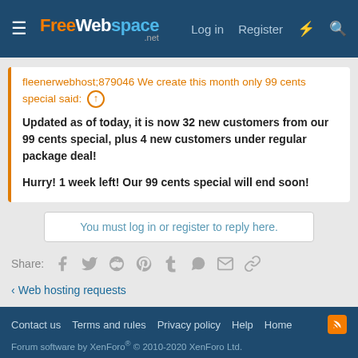FreeWebspace.net — Log in  Register
fleenerwebhost;879046 We create this month only 99 cents special said: ↑

Updated as of today, it is now 32 new customers from our 99 cents special, plus 4 new customers under regular package deal!

Hurry! 1 week left! Our 99 cents special will end soon!
You must log in or register to reply here.
Share:
< Web hosting requests
Contact us  Terms and rules  Privacy policy  Help  Home
Forum software by XenForo® © 2010-2020 XenForo Ltd.